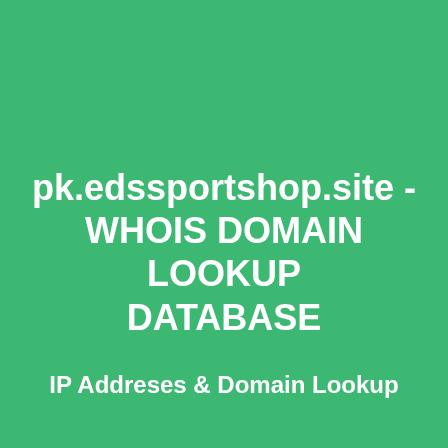pk.edssportshop.site - WHOIS DOMAIN LOOKUP DATABASE
IP Addreses & Domain Lookup